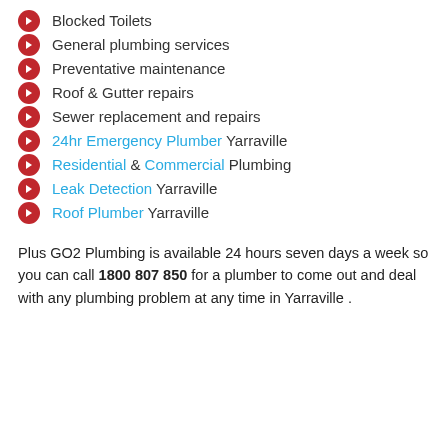Blocked Toilets
General plumbing services
Preventative maintenance
Roof & Gutter repairs
Sewer replacement and repairs
24hr Emergency Plumber Yarraville
Residential & Commercial Plumbing
Leak Detection Yarraville
Roof Plumber Yarraville
Plus GO2 Plumbing is available 24 hours seven days a week so you can call 1800 807 850 for a plumber to come out and deal with any plumbing problem at any time in Yarraville .